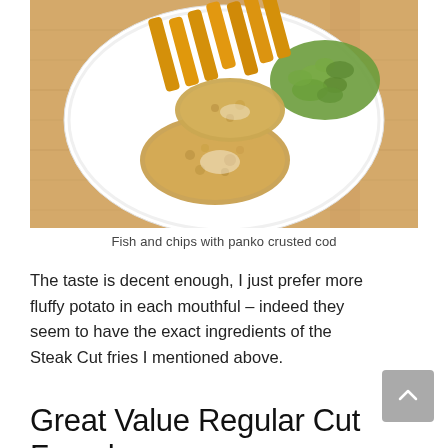[Figure (photo): Overhead view of a white plate on a wooden table with breaded panko crusted cod, thick golden french fries/chips, and mushy peas.]
Fish and chips with panko crusted cod
The taste is decent enough, I just prefer more fluffy potato in each mouthful – indeed they seem to have the exact ingredients of the Steak Cut fries I mentioned above.
Great Value Regular Cut French